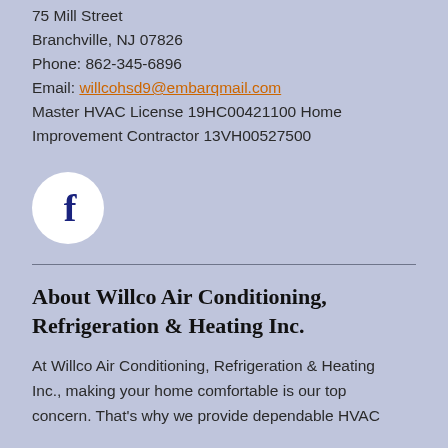75 Mill Street
Branchville, NJ 07826
Phone: 862-345-6896
Email: willcohsd9@embarqmail.com
Master HVAC License 19HC00421100 Home Improvement Contractor 13VH00527500
[Figure (logo): Facebook logo: white circle with dark blue bold letter f]
About Willco Air Conditioning, Refrigeration & Heating Inc.
At Willco Air Conditioning, Refrigeration & Heating Inc., making your home comfortable is our top concern. That's why we provide dependable HVAC